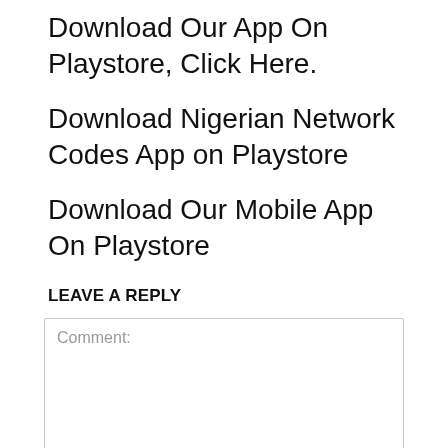Download Our App On Playstore, Click Here.
Download Nigerian Network Codes App on Playstore
Download Our Mobile App On Playstore
LEAVE A REPLY